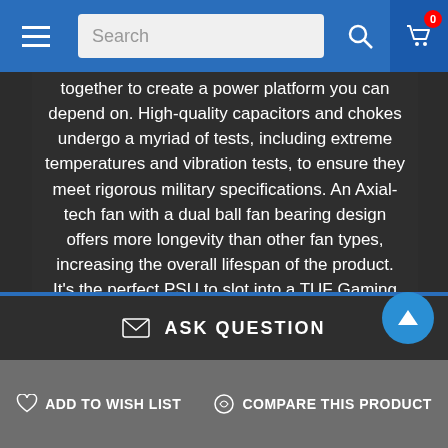Search
together to create a power platform you can depend on. High-quality capacitors and chokes undergo a myriad of tests, including extreme temperatures and vibration tests, to ensure they meet rigorous military specifications. An Axial-tech fan with a dual ball fan bearing design offers more longevity than other fan types, increasing the overall lifespan of the product. It's the perfect PSU to slot into a TUF Gaming rig or any DIY build designed to power through AAA games for years to come.
This website uses cookies to ensure you get the best experience on our website.
Privacy Policy
ASK QUESTION
ADD TO WISH LIST
COMPARE THIS PRODUCT